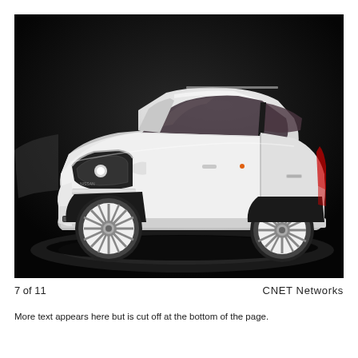[Figure (photo): White Nissan small hatchback car on display at what appears to be an auto show, photographed against a dark background with studio lighting. The car is shown from a front three-quarter angle.]
7 of 11	CNET Networks
More text appears to be cut off at the bottom of the page.